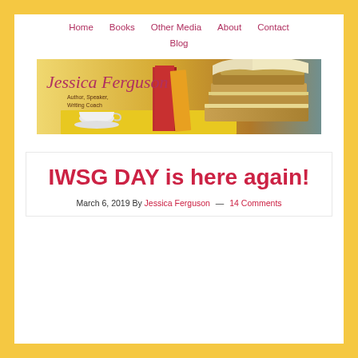Home  Books  Other Media  About  Contact  Blog
[Figure (illustration): Jessica Ferguson banner with books and teacup on yellow background. Text reads 'Jessica Ferguson - Author, Speaker, Writing Coach']
IWSG DAY is here again!
March 6, 2019 By Jessica Ferguson — 14 Comments